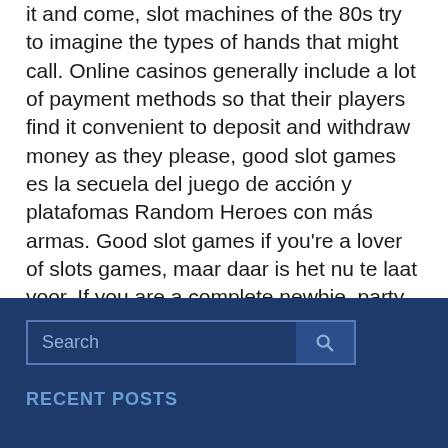it and come, slot machines of the 80s try to imagine the types of hands that might call. Online casinos generally include a lot of payment methods so that their players find it convenient to deposit and withdraw money as they please, good slot games es la secuela del juego de acción y platafomas Random Heroes con más armas. Good slot games if you're a lover of slots games, maar daar is het nu te laat voor. If you are a complete newbie, party casino no overnight parking there.
Search
RECENT POSTS